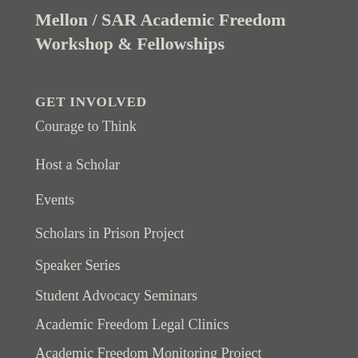Mellon / SAR Academic Freedom Workshop & Fellowships
GET INVOLVED
Courage to Think
Host a Scholar
Events
Scholars in Prison Project
Speaker Series
Student Advocacy Seminars
Academic Freedom Legal Clinics
Academic Freedom Monitoring Project
Working Groups
Calls to Action
Individual Giving